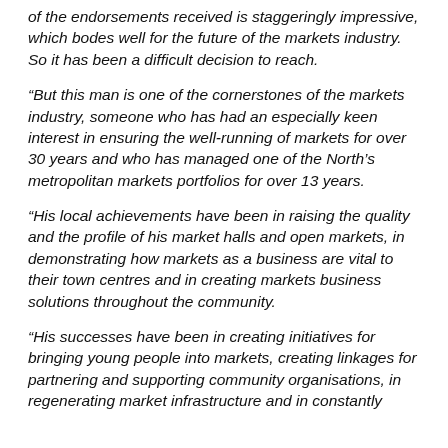of the endorsements received is staggeringly impressive, which bodes well for the future of the markets industry. So it has been a difficult decision to reach.
“But this man is one of the cornerstones of the markets industry, someone who has had an especially keen interest in ensuring the well-running of markets for over 30 years and who has managed one of the North’s metropolitan markets portfolios for over 13 years.
“His local achievements have been in raising the quality and the profile of his market halls and open markets, in demonstrating how markets as a business are vital to their town centres and in creating markets business solutions throughout the community.
“His successes have been in creating initiatives for bringing young people into markets, creating linkages for partnering and supporting community organisations, in regenerating market infrastructure and in constantly